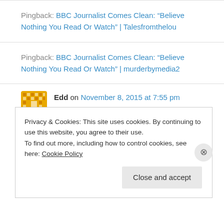Pingback: BBC Journalist Comes Clean: “Believe Nothing You Read Or Watch” | Talesfromthelou
Pingback: BBC Journalist Comes Clean: “Believe Nothing You Read Or Watch” | murderbymedia2
Edd on November 8, 2015 at 7:55 pm
I am so sorry for your loss. Genuinely, painfully, I
Privacy & Cookies: This site uses cookies. By continuing to use this website, you agree to their use.
To find out more, including how to control cookies, see here: Cookie Policy
Close and accept